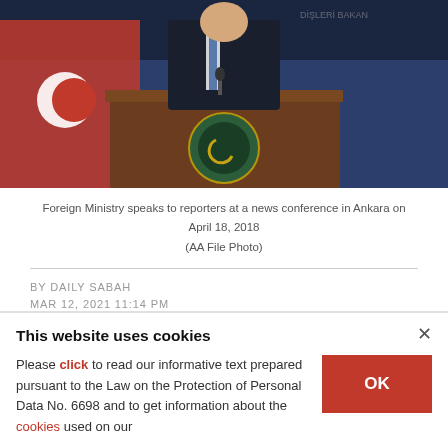[Figure (photo): A Turkish official in a dark suit speaks at a podium with a Turkish flag in the background, at the Foreign Ministry in Ankara]
Foreign Ministry speaks to reporters at a news conference in Ankara on April 18, 2018 (AA File Photo)
BY DAILY SABAH
MAR 12, 2021 11:14 PM
The Turkish Foreign Ministry slammed the propaganda of Gülenist Terror Group
This website uses cookies
Please click to read our informative text prepared pursuant to the Law on the Protection of Personal Data No. 6698 and to get information about the cookies used on our